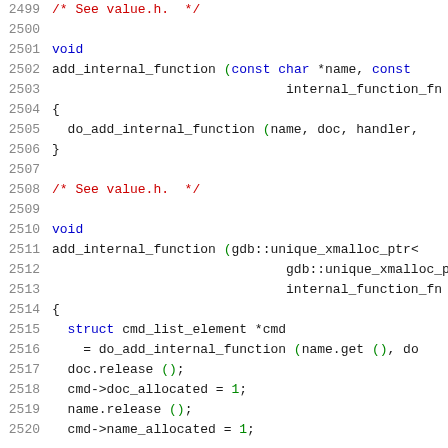Source code listing lines 2499-2520, C/C++ code showing add_internal_function implementations